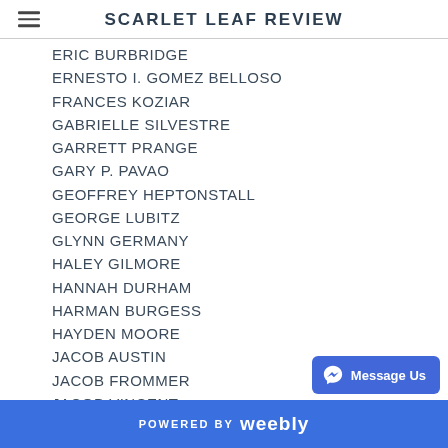SCARLET LEAF REVIEW
ERIC BURBRIDGE
ERNESTO I. GOMEZ BELLOSO
FRANCES KOZIAR
GABRIELLE SILVESTRE
GARRETT PRANGE
GARY P. PAVAO
GEOFFREY HEPTONSTALL
GEORGE LUBITZ
GLYNN GERMANY
HALEY GILMORE
HANNAH DURHAM
HARMAN BURGESS
HAYDEN MOORE
JACOB AUSTIN
JACOB FROMMER
JACOB VINCENT
JAMES WRIGHT
JILL OLSON
POWERED BY weebly